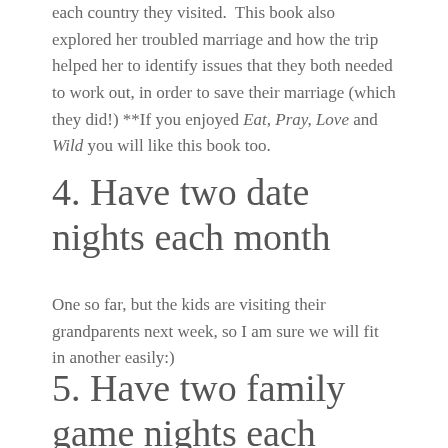each country they visited.  This book also explored her troubled marriage and how the trip helped her to identify issues that they both needed to work out, in order to save their marriage (which they did!) **If you enjoyed Eat, Pray, Love and Wild you will like this book too.
4. Have two date nights each month
One so far, but the kids are visiting their grandparents next week, so I am sure we will fit in another easily:)
5. Have two family game nights each month
We played Settlers of Catan last Monday...